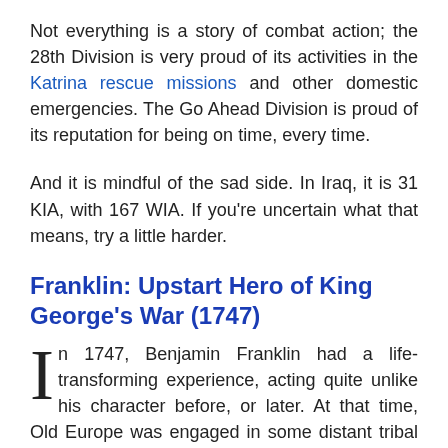Not everything is a story of combat action; the 28th Division is very proud of its activities in the Katrina rescue missions and other domestic emergencies. The Go Ahead Division is proud of its reputation for being on time, every time.
And it is mindful of the sad side. In Iraq, it is 31 KIA, with 167 WIA. If you're uncertain what that means, try a little harder.
Franklin: Upstart Hero of King George's War (1747)
In 1747, Benjamin Franklin had a life-transforming experience, acting quite unlike his character before, or later. At that time, Old Europe was engaged in some distant tribal skirmishing which has come to be known as King George's War. King George II, that is, under whose rule Franklin in 1751 inscribed on the